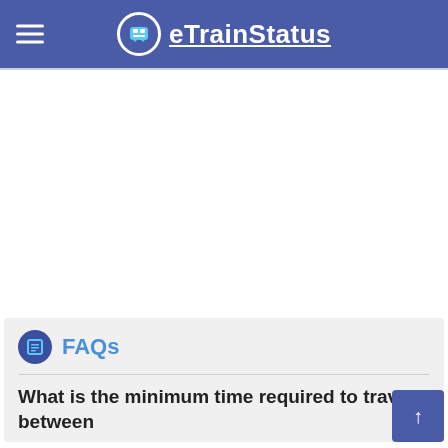eTrainStatus
[Figure (other): Advertisement/blank white area]
FAQs
What is the minimum time required to travel between